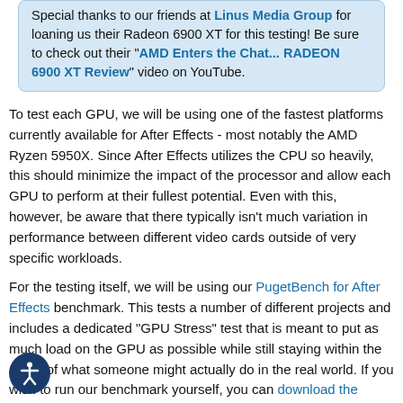Special thanks to our friends at Linus Media Group for loaning us their Radeon 6900 XT for this testing! Be sure to check out their "AMD Enters the Chat... RADEON 6900 XT Review" video on YouTube.
To test each GPU, we will be using one of the fastest platforms currently available for After Effects - most notably the AMD Ryzen 5950X. Since After Effects utilizes the CPU so heavily, this should minimize the impact of the processor and allow each GPU to perform at their fullest potential. Even with this, however, be aware that there typically isn't much variation in performance between different video cards outside of very specific workloads.
For the testing itself, we will be using our PugetBench for After Effects benchmark. This tests a number of different projects and includes a dedicated "GPU Stress" test that is meant to put as much load on the GPU as possible while still staying within the realm of what someone might actually do in the real world. If you wish to run our benchmark yourself, you can download the benchmark and compare your results to thousands of user-submitted results in our bench database.